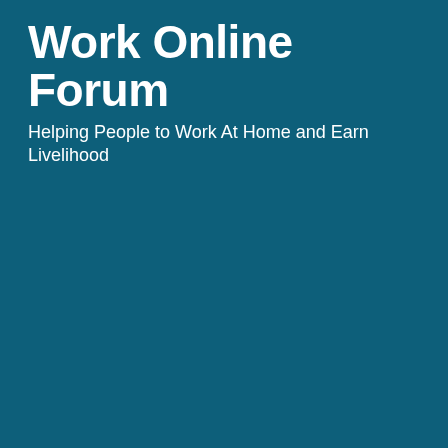Work Online Forum
Helping People to Work At Home and Earn Livelihood